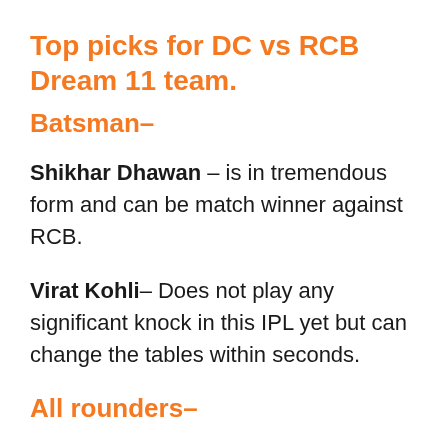Top picks for DC vs RCB Dream 11 team.
Batsman–
Shikhar Dhawan – is in tremendous form and can be match winner against RCB.
Virat Kohli– Does not play any significant knock in this IPL yet but can change the tables within seconds.
All rounders–